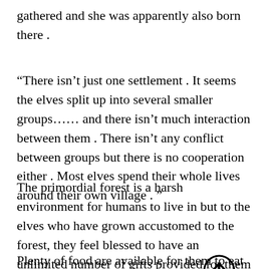gathered and she was apparently also born there .
“There isn’t just one settlement . It seems the elves split up into several smaller groups…… and there isn’t much interaction between them . There isn’t any conflict between groups but there is no cooperation either . Most elves spend their whole lives around their own village . ”
The primordial forest is a harsh environment for humans to live in but to the elves who have grown accustomed to the forest, they feel blessed to have an unlimited number of gifts provided for them .
Plenty of food are available for them to eat such as fruits